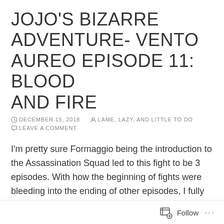JOJO'S BIZARRE ADVENTURE- VENTO AUREO EPISODE 11: BLOOD AND FIRE
DECEMBER 15, 2018   LAME, LAZY, AND LITTLE TO DO   LEAVE A COMMENT
I'm pretty sure Formaggio being the introduction to the Assassination Squad led to this fight to be 3 episodes. With how the beginning of fights were bleeding into the ending of other episodes, I fully expected Illuso to actually show up when the select trio were assigned to go to Pompeii
Have to give to Formaggio's seiyuu, his work was damn impressive given that he's such a minor villain in the grand scheme of things. His Little Feet call-outs were excellent
Follow ...